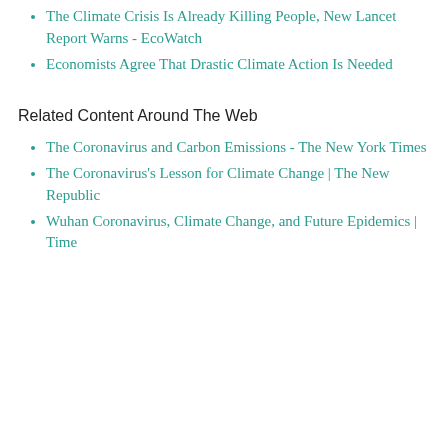The Climate Crisis Is Already Killing People, New Lancet Report Warns - EcoWatch
Economists Agree That Drastic Climate Action Is Needed
Related Content Around The Web
The Coronavirus and Carbon Emissions - The New York Times
The Coronavirus's Lesson for Climate Change | The New Republic
Wuhan Coronavirus, Climate Change, and Future Epidemics | Time